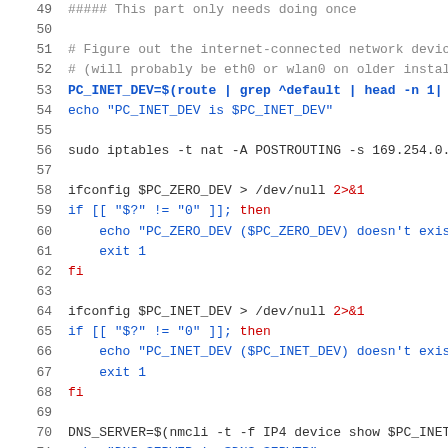49  ##### This part only needs doing once
50
51  # Figure out the internet-connected network devic
52  # (will probably be eth0 or wlan0 on older instal
53  PC_INET_DEV=$(route | grep ^default | head -n 1|
54  echo "PC_INET_DEV is $PC_INET_DEV"
55
56  sudo iptables -t nat -A POSTROUTING -s 169.254.0.
57
58  ifconfig $PC_ZERO_DEV > /dev/null 2>&1
59  if [[ "$?" != "0" ]]; then
60      echo "PC_ZERO_DEV ($PC_ZERO_DEV) doesn't exis
61      exit 1
62  fi
63
64  ifconfig $PC_INET_DEV > /dev/null 2>&1
65  if [[ "$?" != "0" ]]; then
66      echo "PC_INET_DEV ($PC_INET_DEV) doesn't exis
67      exit 1
68  fi
69
70  DNS_SERVER=$(nmcli -t -f IP4 device show $PC_INET
71  echo "DNS_SERVER is $DNS_SERVER"